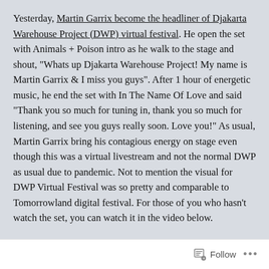Yesterday, Martin Garrix become the headliner of Djakarta Warehouse Project (DWP) virtual festival. He open the set with Animals + Poison intro as he walk to the stage and shout, "Whats up Djakarta Warehouse Project! My name is Martin Garrix & I miss you guys". After 1 hour of energetic music, he end the set with In The Name Of Love and said "Thank you so much for tuning in, thank you so much for listening, and see you guys really soon. Love you!" As usual, Martin Garrix bring his contagious energy on stage even though this was a virtual livestream and not the normal DWP as usual due to pandemic. Not to mention the visual for DWP Virtual Festival was so pretty and comparable to Tomorrowland digital festival. For those of you who hasn't watch the set, you can watch it in the video below.
[Figure (other): Black rectangle representing a video thumbnail/embed placeholder]
Follow ...